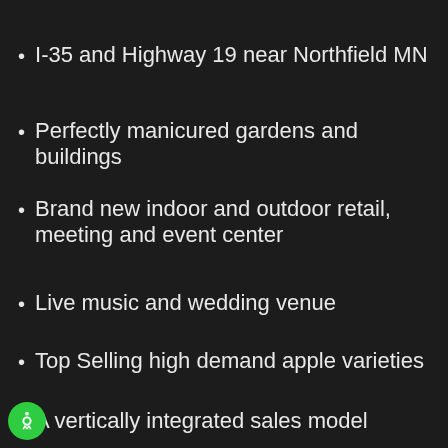I-35 and Highway 19 near Northfield MN
Perfectly manicured gardens and buildings
Brand new indoor and outdoor retail, meeting and event center
Live music and wedding venue
Top Selling high demand apple varieties
A vertically integrated sales model
Very high traffic count road frontage
Excellent parking